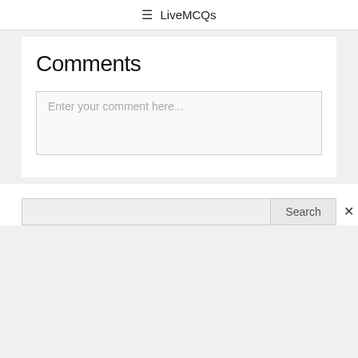☰ LiveMCQs
Comments
Enter your comment here...
Search
×